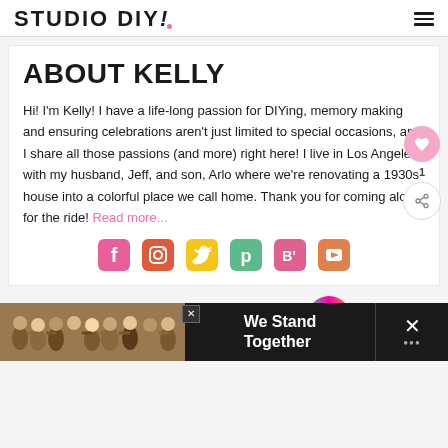STUDIO DIY!
ABOUT KELLY
Hi! I'm Kelly! I have a life-long passion for DIYing, memory making and ensuring celebrations aren't just limited to special occasions, and I share all those passions (and more) right here! I live in Los Angeles with my husband, Jeff, and son, Arlo where we're renovating a 1930s house into a colorful place we call home. Thank you for coming along for the ride! Read more...
[Figure (infographic): Row of social media icons: Facebook (pink), Instagram (red/orange), Twitter (yellow bird), Pinterest (green), Bloglovin (pink B'), YouTube (orange play button)]
WHAT'S NEXT → Ideas for Creating A...
« MY FAVORITE THINGS I BOUGHT IN 2020
[Figure (photo): Advertisement banner: group of people with arms around each other, text reads 'We Stand Together']